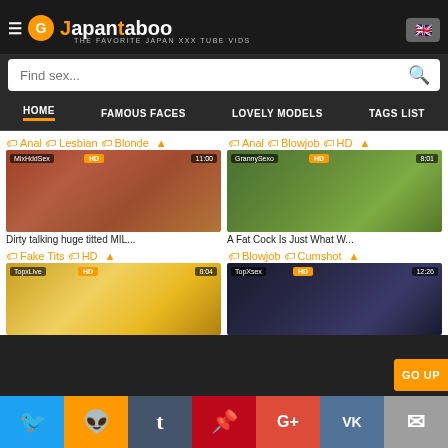Japantaboo — THE FAVORITE JAPAN XXX TUBE VIDS
HOME  FAMOUS FACES  LOVELY MODELS  TAGS LIST
Anal  Lesbian  Blonde  |  Anal  Blowjob  HD
[Figure (screenshot): Video thumbnail 1: MixHddSex, HD, 11:00]
[Figure (screenshot): Video thumbnail 2: GrannySexo, HD, 8:01]
Dirty talking huge titted MIL...
A Fat Cock Is Just What W...
Fake Tits  HD  |  Blowjob  Cumshot
[Figure (screenshot): Video thumbnail 3: TopxLive, HD, 8:04]
[Figure (screenshot): Video thumbnail 4: TopXsex, HD, 12:26]
Twitter  Reddit  Tumblr  Pinterest  Google+  VK  Mail